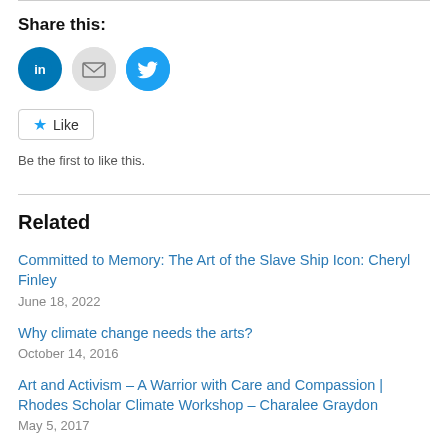Share this:
[Figure (infographic): Three social sharing icons: LinkedIn (blue circle), Email (grey circle), Twitter (blue circle)]
[Figure (infographic): Like button with star icon and text 'Like']
Be the first to like this.
Related
Committed to Memory: The Art of the Slave Ship Icon: Cheryl Finley
June 18, 2022
Why climate change needs the arts?
October 14, 2016
Art and Activism – A Warrior with Care and Compassion | Rhodes Scholar Climate Workshop – Charalee Graydon
May 5, 2017